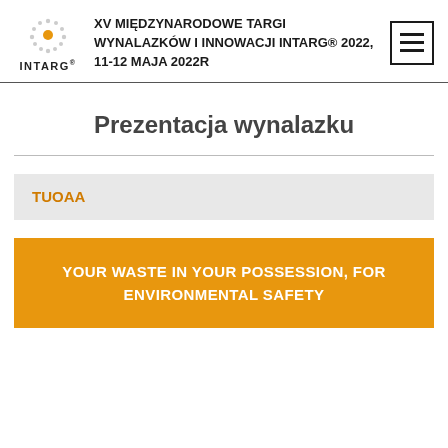XV MIĘDZYNARODOWE TARGI WYNALAZKÓW I INNOWACJI INTARG® 2022, 11-12 MAJA 2022R
Prezentacja wynalazku
TUOAA
YOUR WASTE IN YOUR POSSESSION, FOR ENVIRONMENTAL SAFETY